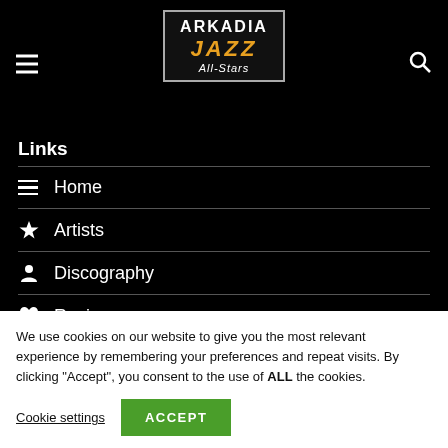Arkadia Jazz All-Stars navigation header
Links
Home
Artists
Discography
Reviews
Contact Us
We use cookies on our website to give you the most relevant experience by remembering your preferences and repeat visits. By clicking “Accept”, you consent to the use of ALL the cookies.
Cookie settings  ACCEPT